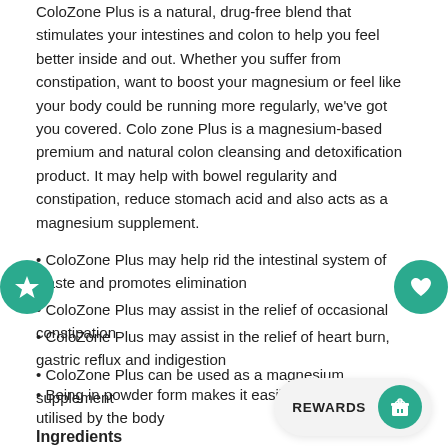ColoZone Plus is a natural, drug-free blend that stimulates your intestines and colon to help you feel better inside and out. Whether you suffer from constipation, want to boost your magnesium or feel like your body could be running more regularly, we've got you covered. Colo zone Plus is a magnesium-based premium and natural colon cleansing and detoxification product. It may help with bowel regularity and constipation, reduce stomach acid and also acts as a magnesium supplement.
ColoZone Plus may help rid the intestinal system of waste and promotes elimination
ColoZone Plus may assist in the relief of occasional constipation
ColoZone Plus may assist in the relief of heart burn, gastric reflux and indigestion
ColoZone Plus can be used as a magnesium supplement
Being in powder form makes it easily absorbed and utilised by the body
Ingredients
Each 5 g dose contains (1×) contain...